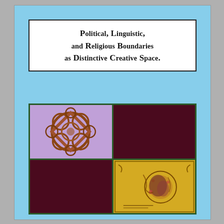Political, Linguistic, and Religious Boundaries as Distinctive Creative Space.
[Figure (illustration): 2x2 image grid with dark green border. Top-left: Gothic architectural tracery with heart/diamond patterns in purple and brown tones. Top-right: solid dark maroon rectangle. Bottom-left: solid dark maroon rectangle. Bottom-right: ornate illuminated manuscript or decorative artwork in gold and earth tones with circular motif.]